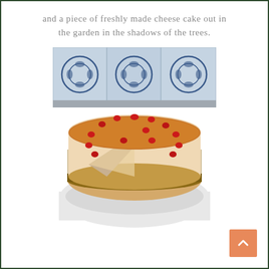and a piece of freshly made cheese cake out in the garden in the shadows of the trees.
[Figure (photo): A whole cheesecake with a slice removed, topped with red cherry candies arranged around the edge and a caramel glaze dusted with cinnamon sugar. The background shows blue and white decorative tiles. The cake sits on white parchment paper on a silver tray.]